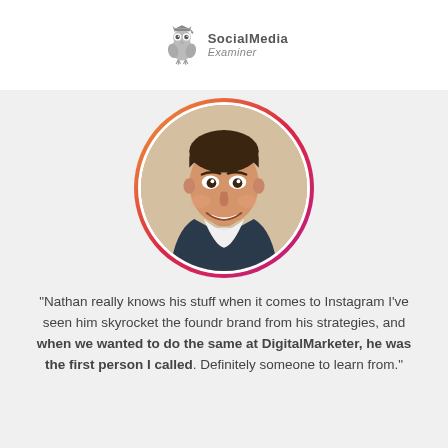[Figure (logo): Social Media Examiner logo with owl mascot]
[Figure (photo): Circular profile photo of a smiling young man in a dark blazer with a white shirt, framed by an Instagram-style gradient ring (pink to orange).]
"Nathan really knows his stuff when it comes to Instagram I've seen him skyrocket the foundr brand from his strategies, and when we wanted to do the same at DigitalMarketer, he was the first person I called. Definitely someone to learn from."